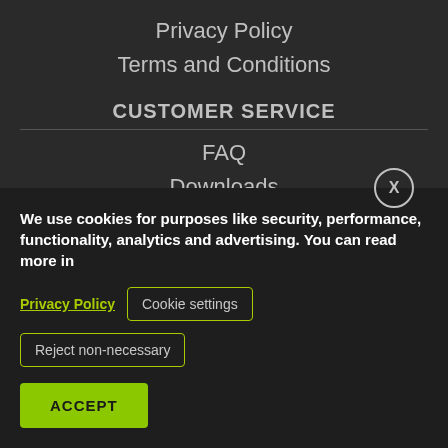Privacy Policy
Terms and Conditions
CUSTOMER SERVICE
FAQ
Downloads
Track Order
[Figure (illustration): Filter/funnel icon button on white rounded pill shape on the left side]
We use cookies for purposes like security, performance, functionality, analytics and advertising. You can read more in
Privacy Policy  Cookie settings  Reject non-necessary
ACCEPT